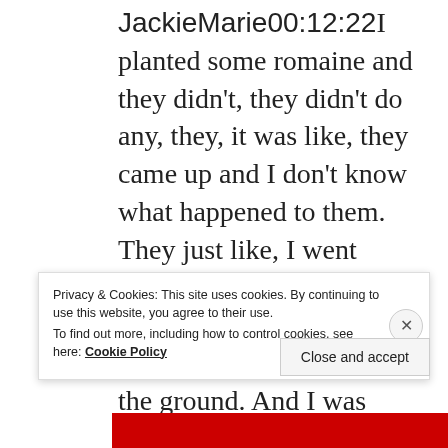JackieMarie00:12:22I planted some romaine and they didn't, they didn't do any, they, it was like, they came up and I don't know what happened to them. They just like, I went down there. I don't see them anymore. They never, they sprouted out of the ground. And I was like, oh cool. It's going to work where it took my broccoli out. And then they just like, they're not there. They vanished. They just kind of like my basil, I guess
Privacy & Cookies: This site uses cookies. By continuing to use this website, you agree to their use. To find out more, including how to control cookies, see here: Cookie Policy
Close and accept